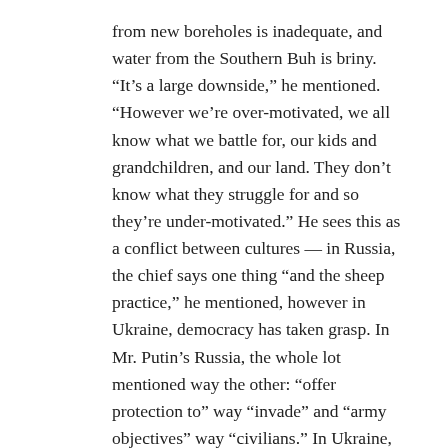from new boreholes is inadequate, and water from the Southern Buh is briny. “It’s a large downside,” he mentioned. “However we’re over-motivated, we all know what we battle for, our kids and grandchildren, and our land. They don’t know what they struggle for and so they’re under-motivated.” He sees this as a conflict between cultures — in Russia, the chief says one thing “and the sheep practice,” he mentioned, however in Ukraine, democracy has taken grasp. In Mr. Putin’s Russia, the whole lot mentioned way the other: “offer protection to” way “invade” and “army objectives” way “civilians.” In Ukraine, Mr. Senkevych mentioned, “we are living actually.”
That truth is tricky. Anna Zamazeeva, the pinnacle of the Mykolaiv Regional Council, led me to her former workplace, a development with a gaping hollow in its heart the place a Russian cruise missile struck on March 29, killing a dozen of her colleagues. At first,